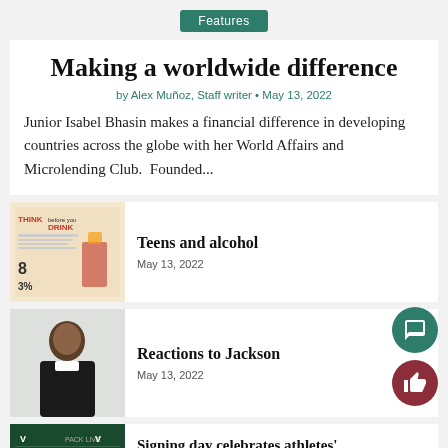Features
Making a worldwide difference
by Alex Muñoz, Staff writer • May 13, 2022
Junior Isabel Bhasin makes a financial difference in developing countries across the globe with her World Affairs and Microlending Club. Founded...
[Figure (photo): Thumbnail image with text 'THINK before you DRINK' and statistics including 8, 3%]
Teens and alcohol
May 13, 2022
[Figure (photo): Photo of a woman in judge's robes, likely Ketanji Brown Jackson]
Reactions to Jackson
May 13, 2022
[Figure (photo): Thumbnail with green background and logos]
Signing day celebrates athletes'